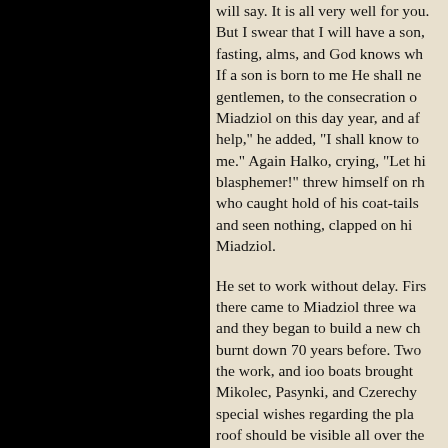will say. It is all very well for you. But I swear that I will have a son, fasting, alms, and God knows wh. If a son is born to me He shall ne gentlemen, to the consecration o Miadziol on this day year, and af help," he added, "I shall know to me." Again Halko, crying, "Let hi blasphemer!" threw himself on rh who caught hold of his coat-tails and seen nothing, clapped on hi Miadziol.
He set to work without delay. Firs there came to Miadziol three wa and they began to build a new ch burnt down 70 years before. Two the work, and ioo boats brought Mikolec, Pasynki, and Czerechy special wishes regarding the pla roof should be visible all over the to pass.
There arose a church with a rou which on all four sides branched a four-leaved clover, forming th